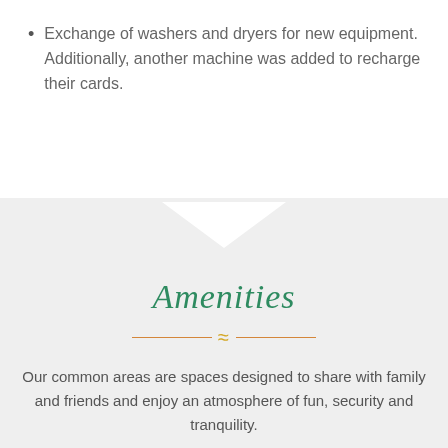Exchange of washers and dryers for new equipment. Additionally, another machine was added to recharge their cards.
Amenities
Our common areas are spaces designed to share with family and friends and enjoy an atmosphere of fun, security and tranquility.